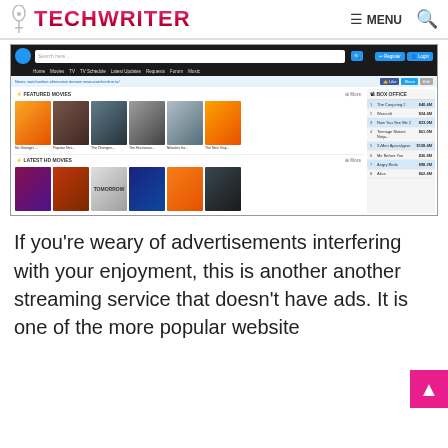TECHWRITER — MENU (search icon)
[Figure (screenshot): Screenshot of a movie streaming website showing navigation bar with search, Register/Login buttons, menu links (Home, Movies, TV, TV Schedule, Latest Updates, Requests, Forum, Music), a news bar, Featured Movies section with thumbnails (No Stranger, Popstar Nev., The Divergen., The Huntsman., Miracles fro., The Nice Guy.), Box Office sidebar with rankings (1. The Conjuring 2 $40.4M, 2. Warcraft $24.4M, 3. Now You See Me 2 $23.0M, 4. Teenage Mutant Ninja... $61.0M, 5. X-Men Apocalypse $138.4M, 6. Me Before You $36.8M, 7. Angry Birds $98.2M, 8. Alice $62.4M), and Latest HD Movies section with more thumbnails]
If you're weary of advertisements interfering with your enjoyment, this is another another streaming service that doesn't have ads. It is one of the more popular website